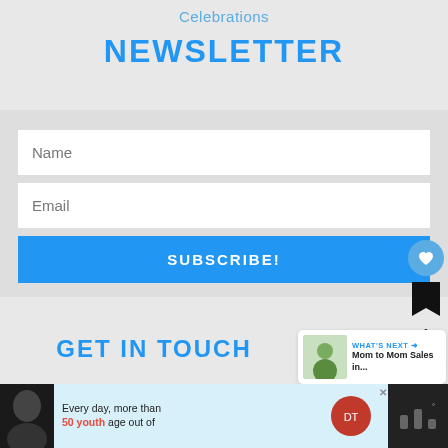Celebrations
NEWSLETTER
Name
Email
SUBSCRIBE!
GET IN TOUCH
info@theexploringfamily.com
Every day, more than 50 youth age out of